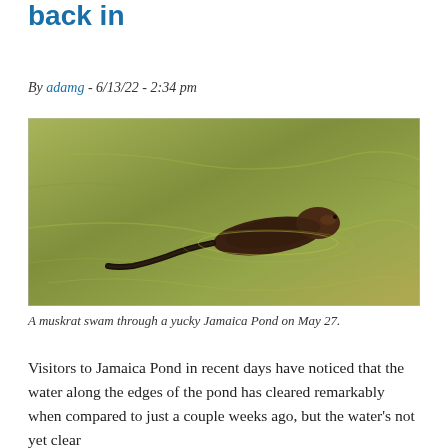her refused to dogs to b…imit to go back in
By adamg - 6/13/22 - 2:34 pm
[Figure (photo): A muskrat swimming through murky greenish-brown water at Jamaica Pond, viewed from above. The animal's body and flat tail are visible on the water surface.]
A muskrat swam through a yucky Jamaica Pond on May 27.
Visitors to Jamaica Pond in recent days have noticed that the water along the edges of the pond has cleared remarkably when compared to just a couple weeks ago, but the water's not yet clear